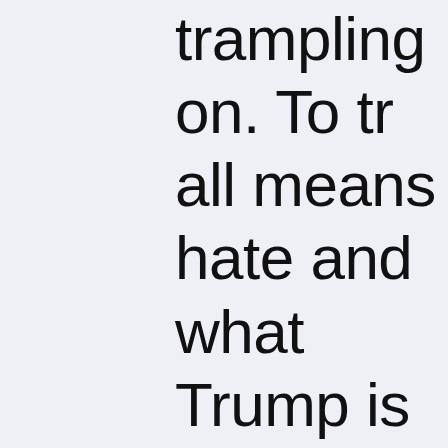trampling on. To tr all means hate and what Trump is and represents—but do the basis of über-pa and loyal service to oppressive empire!